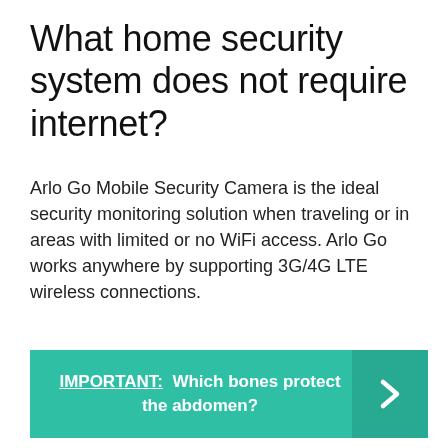What home security system does not require internet?
Arlo Go Mobile Security Camera is the ideal security monitoring solution when traveling or in areas with limited or no WiFi access. Arlo Go works anywhere by supporting 3G/4G LTE wireless connections.
[Figure (infographic): Teal/green banner with bold white text reading 'IMPORTANT: Which bones protect the abdomen?' and a right-pointing chevron arrow on a darker teal right panel.]